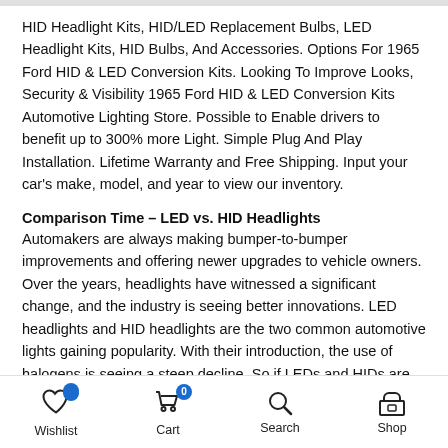HID Headlight Kits, HID/LED Replacement Bulbs, LED Headlight Kits, HID Bulbs, And Accessories. Options For 1965 Ford HID & LED Conversion Kits. Looking To Improve Looks, Security & Visibility 1965 Ford HID & LED Conversion Kits Automotive Lighting Store. Possible to Enable drivers to benefit up to 300% more Light. Simple Plug And Play Installation. Lifetime Warranty and Free Shipping. Input your car's make, model, and year to view our inventory.
Comparison Time – LED vs. HID Headlights
Automakers are always making bumper-to-bumper improvements and offering newer upgrades to vehicle owners. Over the years, headlights have witnessed a significant change, and the industry is seeing better innovations. LED headlights and HID headlights are the two common automotive lights gaining popularity. With their introduction, the use of halogens is seeing a steep decline. So if LEDs and HIDs are the new in-thing, which one's better than the other? In this blog, we discuss the
Wishlist  Cart  Search  Shop